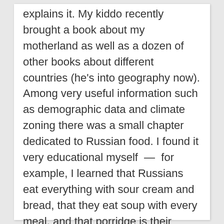explains it. My kiddo recently brought a book about my motherland as well as a dozen of other books about different countries (he's into geography now). Among very useful information such as demographic data and climate zoning there was a small chapter dedicated to Russian food. I found it very educational myself  —  for example, I learned that Russians eat everything with sour cream and bread, that they eat soup with every meal, and that porridge is their favorite food. Who writes this stuff..?